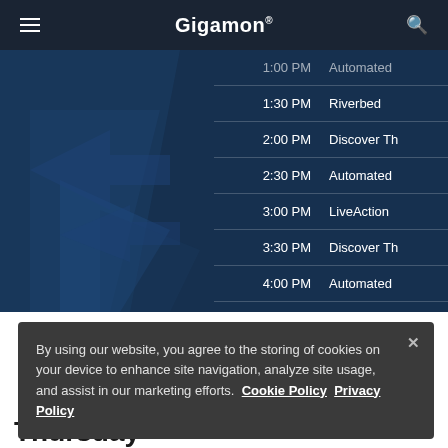Gigamon®
[Figure (screenshot): Gigamon website screenshot showing a schedule/agenda table on a dark blue background with geometric shapes. Rows show times and session names: 1:00 PM Automated (partially visible), 1:30 PM Riverbed, 2:00 PM Discover Th[e...], 2:30 PM Automated, 3:00 PM LiveAction, 3:30 PM Discover Th[e...], 4:00 PM Automated, 4:30 PM ExtraHop]
By using our website, you agree to the storing of cookies on your device to enhance site navigation, analyze site usage, and assist in our marketing efforts. Cookie Policy Privacy Policy
Thursday